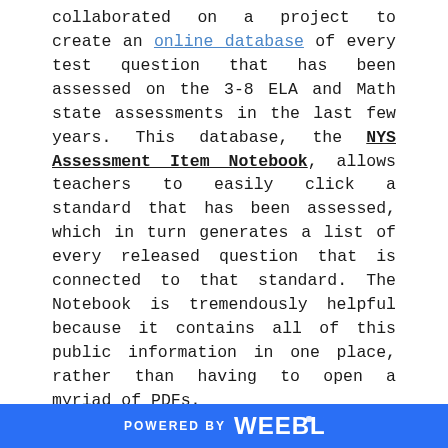collaborated on a project to create an online database of every test question that has been assessed on the 3-8 ELA and Math state assessments in the last few years. This database, the NYS Assessment Item Notebook, allows teachers to easily click a standard that has been assessed, which in turn generates a list of every released question that is connected to that standard. The Notebook is tremendously helpful because it contains all of this public information in one place, rather than having to open a myriad of PDFs.

Districts in our region have been using this tool in numerous ways. At Cuba-Rushford, middle school ELA teachers have been analyzing the question stems to notice patterns in how standards are being assessed. For example, teachers noted that many questions reference specific paragraphs, such as
POWERED BY Weebly